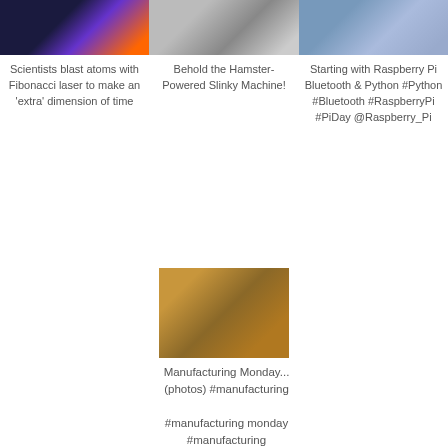[Figure (photo): Top image strip: glowing laser/atomic science visual with purple and orange tones]
Scientists blast atoms with Fibonacci laser to make an 'extra' dimension of time
[Figure (photo): Top image strip: hamster-powered slinky machine photo]
Behold the Hamster-Powered Slinky Machine!
[Figure (photo): Top image strip: Raspberry Pi related image with blue tones]
Starting with Raspberry Pi Bluetooth & Python #Python #Bluetooth #RaspberryPi #PiDay @Raspberry_Pi
[Figure (photo): Close-up photo of electronic circuit board with golden/brown tones, showing capacitors and circuit traces]
Manufacturing Monday... (photos) #manufacturing
#manufacturing monday #manufacturing